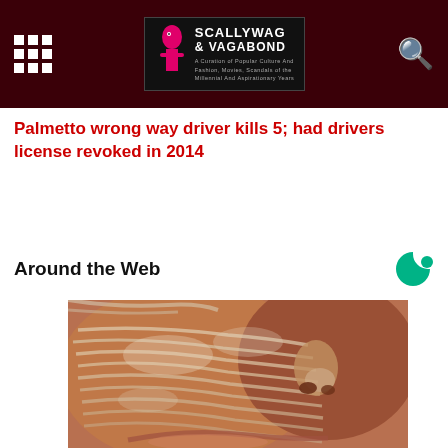Scallywag & Vagabond
Palmetto wrong way driver kills 5; had drivers license revoked in 2014
Around the Web
[Figure (photo): Close-up photo of a person's face with a textured skin treatment or condition showing layered, ridged skin texture across cheek and nose area.]